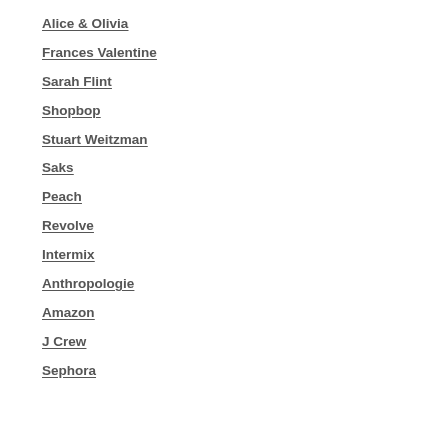Alice & Olivia
Frances Valentine
Sarah Flint
Shopbop
Stuart Weitzman
Saks
Peach
Revolve
Intermix
Anthropologie
Amazon
J Crew
Sephora